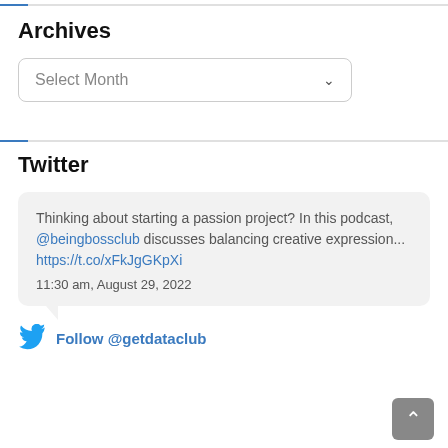Archives
[Figure (other): A dropdown select box labeled 'Select Month' with a chevron arrow on the right, enclosed in a rounded border.]
Twitter
Thinking about starting a passion project? In this podcast, @beingbossclub discusses balancing creative expression... https://t.co/xFkJgGKpXi
11:30 am, August 29, 2022
Follow @getdataclub